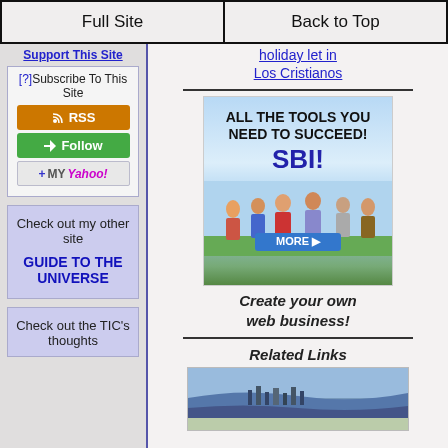Full Site | Back to Top
holiday let in Los Cristianos
Support This Site
[?]Subscribe To This Site
[Figure (screenshot): RSS subscription button (orange)]
[Figure (screenshot): Follow button (green)]
[Figure (screenshot): Add to My Yahoo! button]
Check out my other site
GUIDE TO THE UNIVERSE
Check out the TIC's thoughts
[Figure (screenshot): SBI advertisement: ALL THE TOOLS YOU NEED TO SUCCEED! SBI! MORE button]
Create your own web business!
Related Links
[Figure (photo): Coastal aerial photograph]